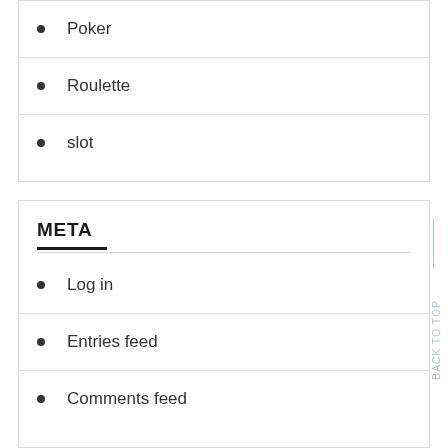Poker
Roulette
slot
META
Log in
Entries feed
Comments feed